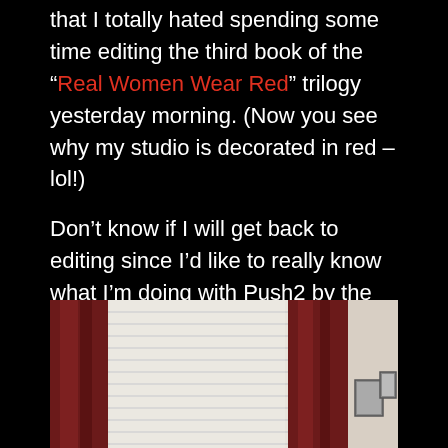that I totally hated spending some time editing the third book of the “Real Women Wear Red” trilogy yesterday morning. (Now you see why my studio is decorated in red – lol!)
Don’t know if I will get back to editing since I’d like to really know what I’m doing with Push2 by the time 50/90 begins in July. Besides, my heart just isn’t into writing fiction these days. That time may be behind me now. Now it’s all about the music!
[Figure (photo): Interior room photo showing a window with white horizontal blinds flanked by dark red/maroon curtains, a beige wall, and two framed pictures on the right side.]